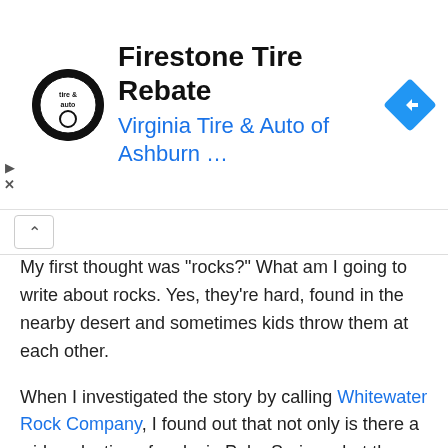[Figure (other): Advertisement banner for Firestone Tire Rebate by Virginia Tire & Auto of Ashburn. Contains circular logo with 'tire & auto' text, ad title 'Firestone Tire Rebate', subtitle 'Virginia Tire & Auto of Ashburn ...', and a blue diamond navigation icon on the right. Play and X controls on the left side.]
My first thought was "rocks?" What am I going to write about rocks. Yes, they're hard, found in the nearby desert and sometimes kids throw them at each other.
When I investigated the story by calling Whitewater Rock Company, I found out that not only is there a wide selection of rocks in Palm Springs, but there is also Palm Springs gold.
Yet, another puzzling desert term. Of course, when the man at the rock company said Palm Springs gold, the first question that came to mind was do some of the rocks in Palm Springs contain gold.
No, that wasn't the case. The man at the rock company let me know that Palm Springs gold is the city's most common rock used for building. Many call it a city's showcase stone.